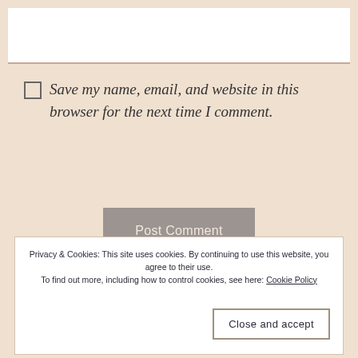[Figure (screenshot): White text input box with bottom border]
Save my name, email, and website in this browser for the next time I comment.
Post Comment
Notify me of new comments via email.
Privacy & Cookies: This site uses cookies. By continuing to use this website, you agree to their use. To find out more, including how to control cookies, see here: Cookie Policy
Close and accept